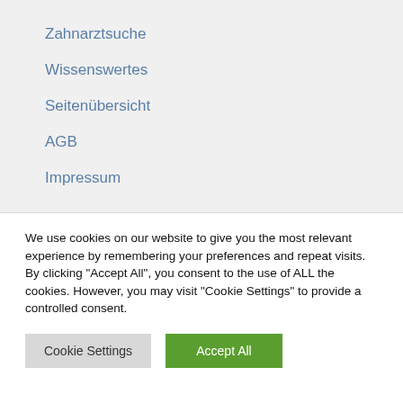Zahnarztsuche
Wissenswertes
Seitenübersicht
AGB
Impressum
We use cookies on our website to give you the most relevant experience by remembering your preferences and repeat visits. By clicking "Accept All", you consent to the use of ALL the cookies. However, you may visit "Cookie Settings" to provide a controlled consent.
Cookie Settings | Accept All